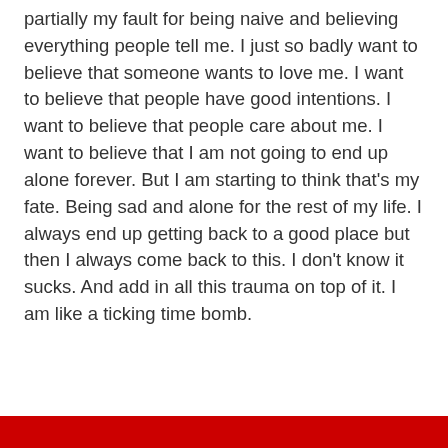partially my fault for being naive and believing everything people tell me. I just so badly want to believe that someone wants to love me. I want to believe that people have good intentions. I want to believe that people care about me. I want to believe that I am not going to end up alone forever. But I am starting to think that's my fate. Being sad and alone for the rest of my life. I always end up getting back to a good place but then I always come back to this. I don't know it sucks. And add in all this trauma on top of it. I am like a ticking time bomb.
Privacy & Cookies: This site uses cookies. By continuing to use this website, you agree to their use.
To find out more, including how to control cookies, see here: Cookie Policy
Close and accept